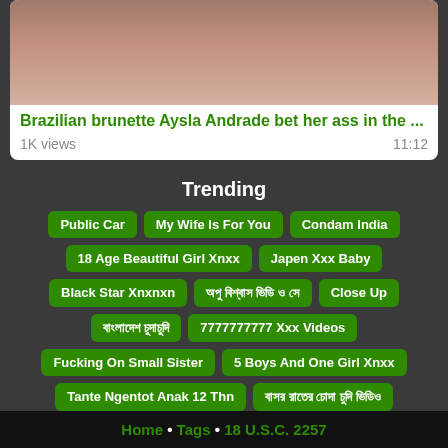[Figure (photo): Thumbnail image of two people in a bathroom/indoor setting]
Brazilian brunette Aysla Andrade bet her ass in the ...
1K views   11:12
Trending
Public Car
My Wife Is For You
Condam India
18 Age Beautiful Girl Xnxx
Japen Xxx Baby
Black Star Xnxnxn
অপু বিশ্বাস ভিডি ও সে
Close Up
বাংলাদেশ চুদাচুদি
7777777777 Xxx Videos
Fucking On Small Sister
5 Boys And One Girl Xnxx
Tante Ngentot Anak 12 Thn
বাসর রাতের চোদা চুদি ভিডিও
Yyyxxx Xxx Videos
Home • Tags • 18 U.S.C. 2257